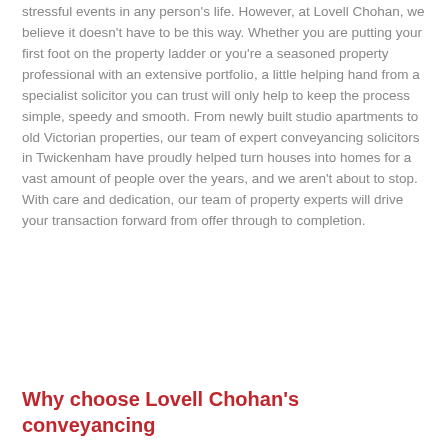stressful events in any person's life. However, at Lovell Chohan, we believe it doesn't have to be this way. Whether you are putting your first foot on the property ladder or you're a seasoned property professional with an extensive portfolio, a little helping hand from a specialist solicitor you can trust will only help to keep the process simple, speedy and smooth. From newly built studio apartments to old Victorian properties, our team of expert conveyancing solicitors in Twickenham have proudly helped turn houses into homes for a vast amount of people over the years, and we aren't about to stop. With care and dedication, our team of property experts will drive your transaction forward from offer through to completion.
Why choose Lovell Chohan's conveyancing